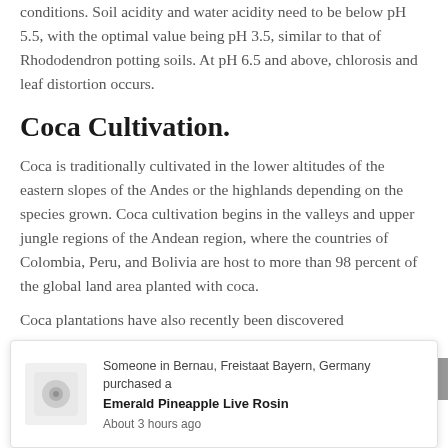conditions. Soil acidity and water acidity need to be below pH 5.5, with the optimal value being pH 3.5, similar to that of Rhododendron potting soils. At pH 6.5 and above, chlorosis and leaf distortion occurs.
Coca Cultivation.
Coca is traditionally cultivated in the lower altitudes of the eastern slopes of the Andes or the highlands depending on the species grown. Coca cultivation begins in the valleys and upper jungle regions of the Andean region, where the countries of Colombia, Peru, and Bolivia are host to more than 98 percent of the global land area planted with coca.
Coca plantations have also recently been discovered
Someone in Bernau, Freistaat Bayern, Germany purchased a
Emerald Pineapple Live Rosin
About 3 hours ago